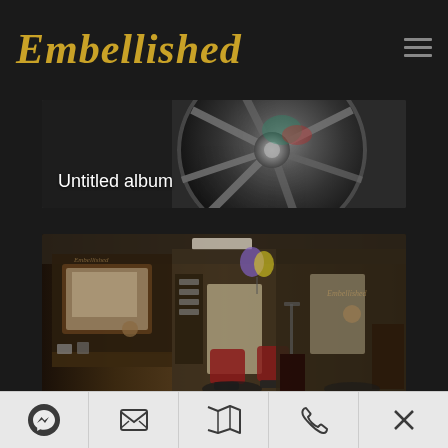Embellished
[Figure (photo): Close-up of a chrome wheel/rim with reflections, used as album thumbnail with label 'Untitled album']
Untitled album
[Figure (photo): Interior of a salon/spa showing chairs, mirrors, décor, with red chairs, balloon, and signage]
Navigation bar with icons: Messenger, Email, Map, Phone, Close